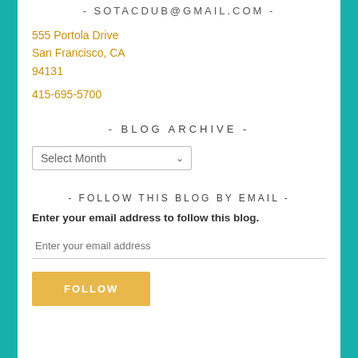- SOTACDUB@GMAIL.COM -
555 Portola Drive
San Francisco, CA
94131
415-695-5700
- BLOG ARCHIVE -
Select Month (dropdown)
- FOLLOW THIS BLOG BY EMAIL -
Enter your email address to follow this blog.
Enter your email address (input field)
FOLLOW (button)